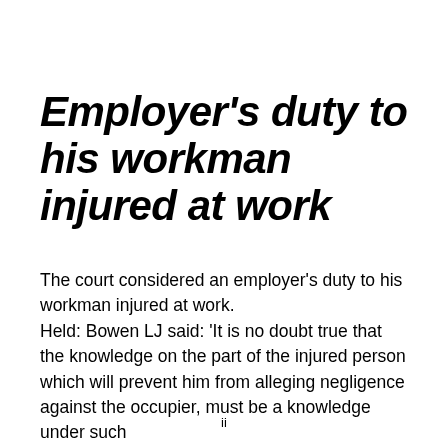Employer's duty to his workman injured at work
The court considered an employer's duty to his workman injured at work.
Held: Bowen LJ said: 'It is no doubt true that the knowledge on the part of the injured person which will prevent him from alleging negligence against the occupier, must be a knowledge under such
ii